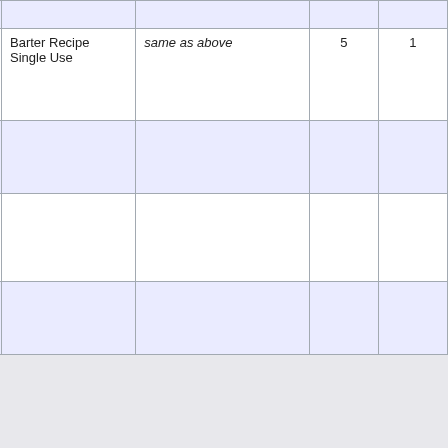| Item | Source | Notes | Qty | # |
| --- | --- | --- | --- | --- |
| Defensive War Boots of Éomer |  |  |  |  |
| [img] Potent Battle Gauntlets of the Mark | Barter Recipe Single Use | same as above | 5 | 1 |
| [img] Potent War Gauntlets of Éomer |  |  |  |  |
| [img] Commanding Battle Gauntlets of the Mark |  |  |  |  |
| [img] Commanding |  |  |  |  |